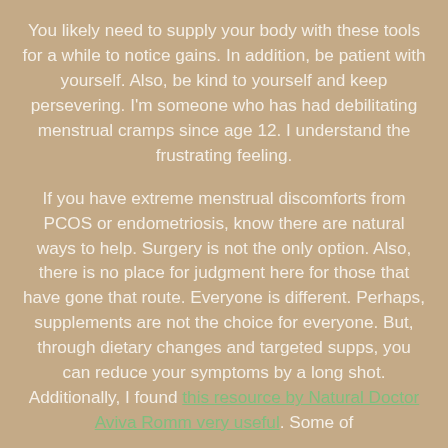You likely need to supply your body with these tools for a while to notice gains. In addition, be patient with yourself. Also, be kind to yourself and keep persevering. I'm someone who has had debilitating menstrual cramps since age 12. I understand the frustrating feeling.

If you have extreme menstrual discomforts from PCOS or endometriosis, know there are natural ways to help. Surgery is not the only option. Also, there is no place for judgment here for those that have gone that route. Everyone is different. Perhaps, supplements are not the choice for everyone. But, through dietary changes and targeted supps, you can reduce your symptoms by a long shot. Additionally, I found this resource by Natural Doctor Aviva Romm very useful. Some of